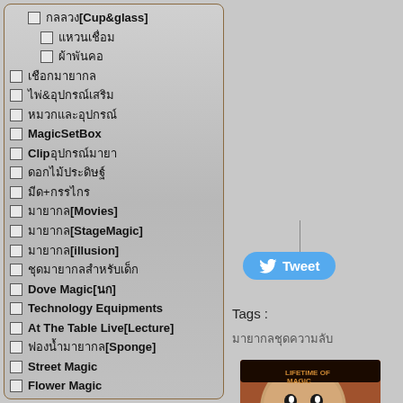กลลวง[Cup&glass]
แหวนเชื่อม
ผ้าพันคอ
เชือกมายากล
ไพ่&อุปกรณ์เสริม
หมวกและอุปกรณ์
MagicSetBox
Clipอุปกรณ์มายา
ดอกไม้ประดิษฐ์
มีด+กรรไกร
มายากล[Movies]
มายากล[StageMagic]
มายากล[illusion]
ชุดมายากลสำหรับเด็ก
Dove Magic[นก]
Technology Equipments
At The Table Live[Lecture]
ฟองน้ำมายากล[Sponge]
Street Magic
Flower Magic
Tags :
มายากลชุดความลับ
[Figure (photo): DVD product image for A Lifetime Of magic By Je...]
A Lifetime Of magic By Je...
ราคา 90.00 ฿